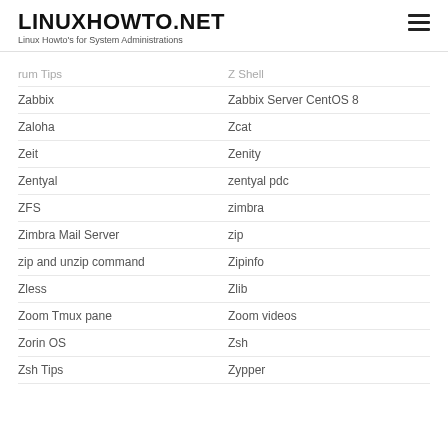LINUXHOWTO.NET
Linux Howto's for System Administrations
rum Tips | Z Shell
Zabbix | Zabbix Server CentOS 8
Zaloha | Zcat
Zeit | Zenity
Zentyal | zentyal pdc
ZFS | zimbra
Zimbra Mail Server | zip
zip and unzip command | Zipinfo
Zless | Zlib
Zoom Tmux pane | Zoom videos
Zorin OS | Zsh
Zsh Tips | Zypper